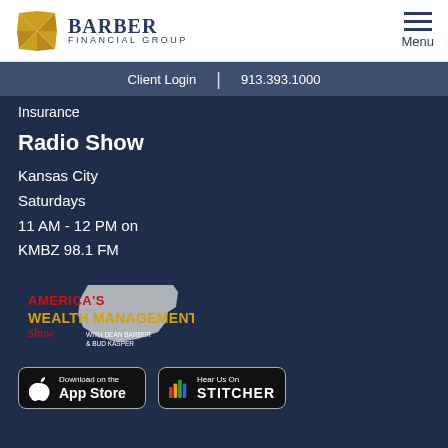Barber Financial Group — Client Login | 913.393.1000 | Menu
Insurance
Radio Show
Kansas City
Saturdays
11 AM - 12 PM on
KMBZ 98.1 FM
[Figure (logo): America's Wealth Management Show with Dean Barber & Bud Kasper logo with US map silhouette]
[Figure (logo): Download on the App Store badge]
[Figure (logo): Hear Us On Stitcher badge]